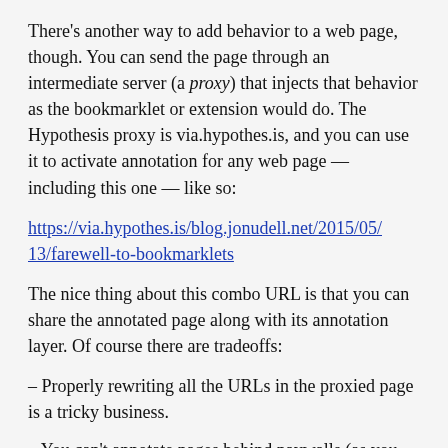There's another way to add behavior to a web page, though. You can send the page through an intermediate server (a proxy) that injects that behavior as the bookmarklet or extension would do. The Hypothesis proxy is via.hypothes.is, and you can use it to activate annotation for any web page — including this one — like so:
https://via.hypothes.is/blog.jonudell.net/2015/05/13/farewell-to-bookmarklets
The nice thing about this combo URL is that you can share the annotated page along with its annotation layer. Of course there are tradeoffs:
– Properly rewriting all the URLs in the proxied page is a tricky business.
– You can't annotate pages behind paywalls (as you can with our bookmarklet and Chrome extension).